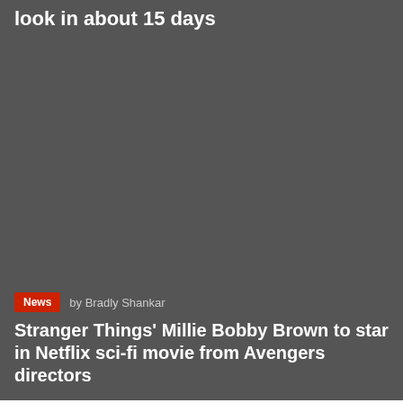look in about 15 days
by Bradly Shankar
Stranger Things' Millie Bobby Brown to star in Netflix sci-fi movie from Avengers directors